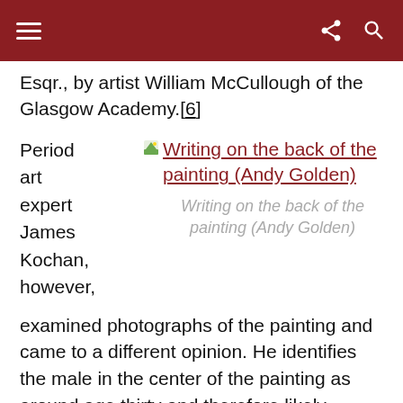Esqr., by artist William McCullough of the Glasgow Academy.[6]
Period art expert James Kochan, however,
[Figure (photo): Writing on the back of the painting (Andy Golden) — linked image with caption]
examined photographs of the painting and came to a different opinion. He identifies the male in the center of the painting as around age thirty and therefore likely Thomas Broun of Braid, member of the Gentry. The clothing on all three figures he finds consistent with the mid-1760s. He